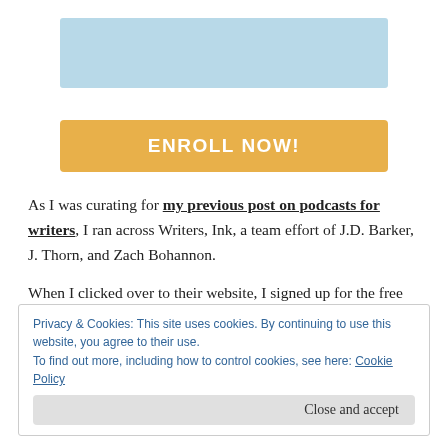[Figure (other): Light blue rectangular banner at top, likely a course image placeholder]
ENROLL NOW!
As I was curating for my previous post on podcasts for writers, I ran across Writers, Ink, a team effort of J.D. Barker, J. Thorn, and Zach Bohannon.
When I clicked over to their website, I signed up for the free revision course (see above).
Privacy & Cookies: This site uses cookies. By continuing to use this website, you agree to their use.
To find out more, including how to control cookies, see here: Cookie Policy
Close and accept